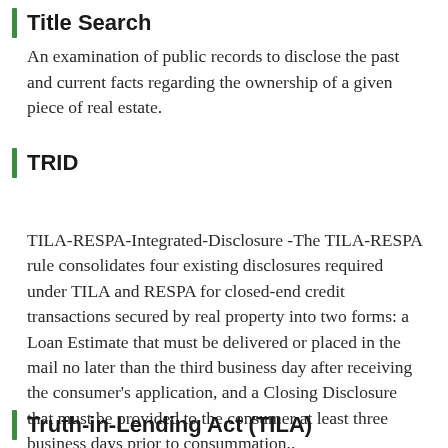Title Search
An examination of public records to disclose the past and current facts regarding the ownership of a given piece of real estate.
TRID
TILA-RESPA-Integrated-Disclosure -The TILA-RESPA rule consolidates four existing disclosures required under TILA and RESPA for closed-end credit transactions secured by real property into two forms: a Loan Estimate that must be delivered or placed in the mail no later than the third business day after receiving the consumer's application, and a Closing Disclosure that must be provided to the consumer at least three business days prior to consummation..
Truth-in-Lending Act (TILA)